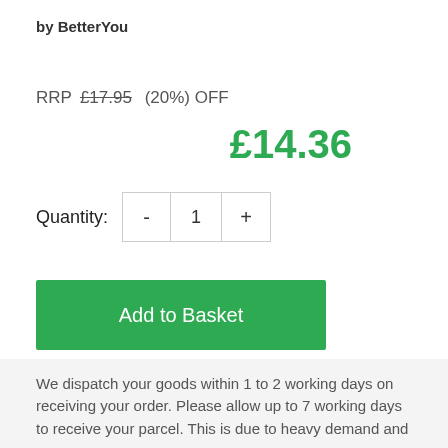by BetterYou
RRP £17.95  (20%) OFF
£14.36
Quantity: - 1 +
Add to Basket
Add to Wishlist
We dispatch your goods within 1 to 2 working days on receiving your order. Please allow up to 7 working days to receive your parcel. This is due to heavy demand and